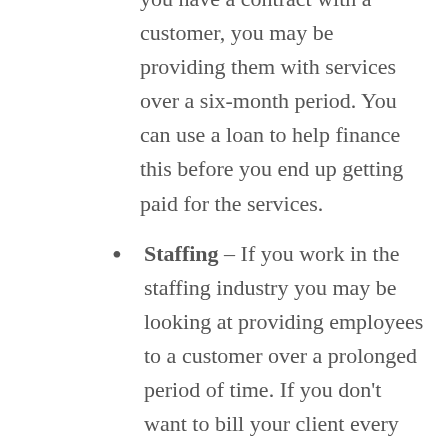you have a contract with a customer, you may be providing them with services over a six-month period. You can use a loan to help finance this before you end up getting paid for the services.
Staffing – If you work in the staffing industry you may be looking at providing employees to a customer over a prolonged period of time. If you don't want to bill your client every time you provide them with employees, you can use a loan to help fund the recruitment costs before you bill out.
Production – If you produce a good, but you normally ship out large orders, financing your invoices may be a good way to help get the funding that you need. This is especially true if you're producing large